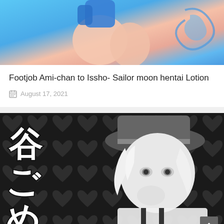[Figure (illustration): Colorful anime/manga style illustration showing sailor-themed character with blue outfit and blue decorative elements on a light background]
Footjob Ami-chan to Issho- Sailor moon hentai Lotion
August 17, 2021
[Figure (illustration): Black and white manga illustration showing a character in a military-style hat with white hair, with Japanese text overlay reading partial characters on the left side. A dark heart pattern background. Small back-to-top arrow button in bottom right corner.]